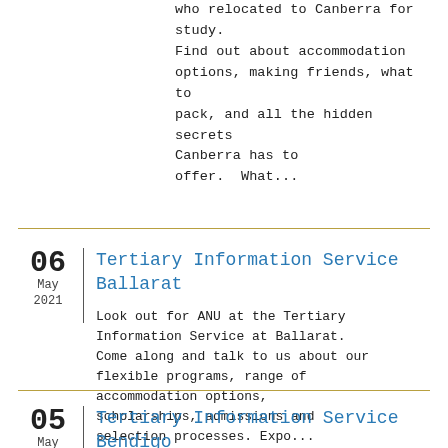who relocated to Canberra for study. Find out about accommodation options, making friends, what to pack, and all the hidden secrets Canberra has to offer.  What...
06 May 2021 | Tertiary Information Service Ballarat
Look out for ANU at the Tertiary Information Service at Ballarat. Come along and talk to us about our flexible programs, range of accommodation options, scholarships, admissions and selection processes. Expo...
05 May 2021 | Tertiary Information Service Bendigo
Look out for ANU at the Tertiary...